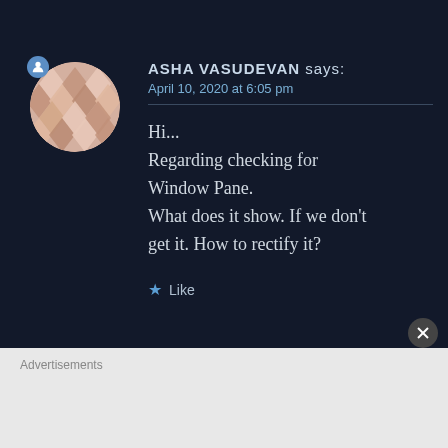[Figure (illustration): Avatar circle with geometric diamond/chevron pattern in pink and beige tones, with a small blue user icon badge in upper-left]
ASHA VASUDEVAN says:
April 10, 2020 at 6:05 pm
Hi...
Regarding checking for Window Pane.
What does it show. If we don't get it. How to rectify it?
★ Like
Advertisements